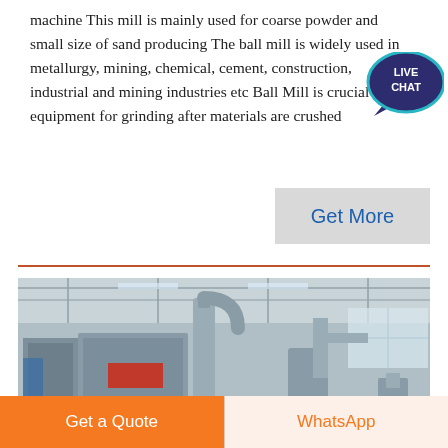machine This mill is mainly used for coarse powder and small size of sand producing The ball mill is widely used in metallurgy, mining, chemical, cement, construction, industrial and mining industries etc Ball Mill is crucial equipment for grinding after materials are crushed
[Figure (other): Live Chat speech bubble icon with dark navy background and teal border, showing 'LIVE CHAT' text]
Get More
[Figure (photo): Industrial factory interior showing large grey grinding/milling machinery with pipes, hoppers, and dust collection equipment inside a warehouse with steel roof structure]
Get a Quote
WhatsApp